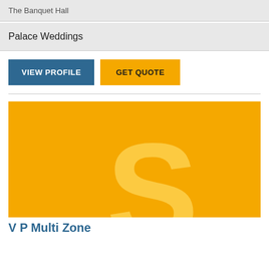The Banquet Hall
Palace Weddings
[Figure (other): Two buttons: 'VIEW PROFILE' (blue) and 'GET QUOTE' (yellow/orange)]
[Figure (other): Yellow card image with large stylized letter S watermark in lighter yellow]
V P Multi Zone